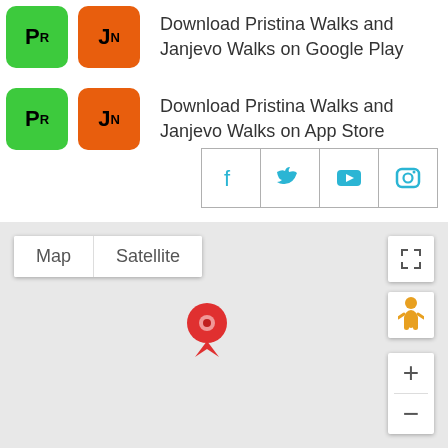[Figure (illustration): Two app icons (green PR and orange JN) followed by text: Download Pristina Walks and Janjevo Walks on Google Play]
Download Pristina Walks and Janjevo Walks on Google Play
[Figure (illustration): Two app icons (green PR and orange JN) followed by text: Download Pristina Walks and Janjevo Walks on App Store]
Download Pristina Walks and Janjevo Walks on App Store
[Figure (infographic): Social media icons row: Facebook, Twitter, YouTube, Instagram in bordered cells]
[Figure (screenshot): Google Maps embedded map showing a red location pin on a grey map background, with Map/Satellite toggle, fullscreen button, pegman, and zoom controls]